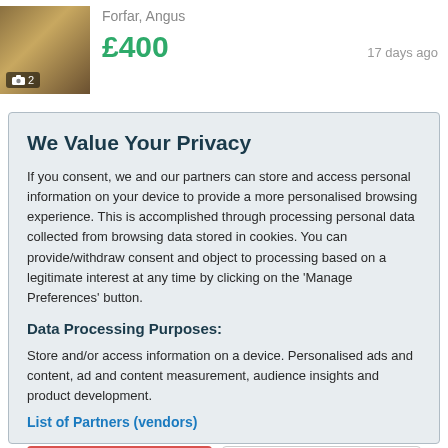[Figure (photo): Thumbnail image of a yellow item (possibly machinery), with a camera badge showing '2' in the bottom-left corner.]
Forfar, Angus
£400
17 days ago
We Value Your Privacy
If you consent, we and our partners can store and access personal information on your device to provide a more personalised browsing experience. This is accomplished through processing personal data collected from browsing data stored in cookies. You can provide/withdraw consent and object to processing based on a legitimate interest at any time by clicking on the 'Manage Preferences' button.
Data Processing Purposes:
Store and/or access information on a device. Personalised ads and content, ad and content measurement, audience insights and product development.
List of Partners (vendors)
Accept
Manage your privacy settings